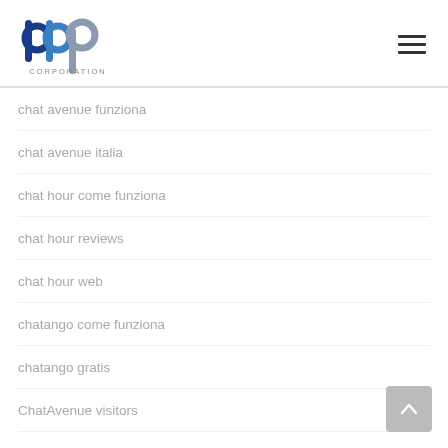[Figure (logo): BBP Corporation logo with blue and gray letterforms spelling 'bbp' and 'CORPORATION' below]
chat avenue funziona
chat avenue italia
chat hour come funziona
chat hour reviews
chat hour web
chatango come funziona
chatango gratis
ChatAvenue visitors
chatib come funziona
chatib como funciona